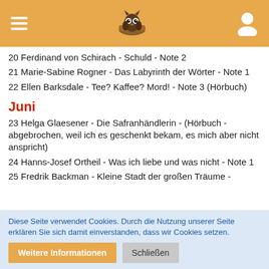Navigation header with hamburger menu, owl logo, user icon
20 Ferdinand von Schirach - Schuld - Note 2
21 Marie-Sabine Rogner - Das Labyrinth der Wörter - Note 1
22 Ellen Barksdale - Tee? Kaffee? Mord! - Note 3 (Hörbuch)
Juni
23 Helga Glaesener - Die Safranhändlerin - (Hörbuch - abgebrochen, weil ich es geschenkt bekam, es mich aber nicht anspricht)
24 Hanns-Josef Ortheil - Was ich liebe und was nicht - Note 1
25 Fredrik Backman - Kleine Stadt der großen Träume -
Diese Seite verwendet Cookies. Durch die Nutzung unserer Seite erklären Sie sich damit einverstanden, dass wir Cookies setzen.
Weitere Informationen | Schließen